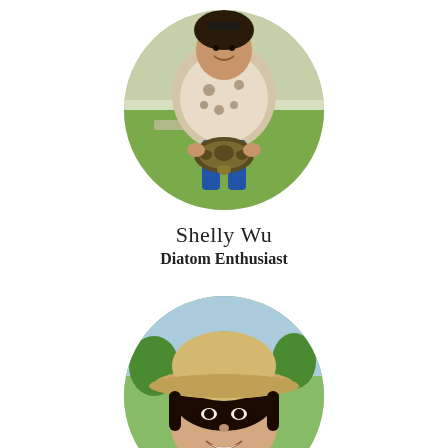[Figure (photo): Circular profile photo of a young woman smiling, bending forward holding a large turtle, outdoors on green grass field.]
Shelly Wu
Diatom Enthusiast
[Figure (photo): Circular cropped profile photo of a young woman wearing a tan baseball cap, taking a selfie outdoors near green trees.]